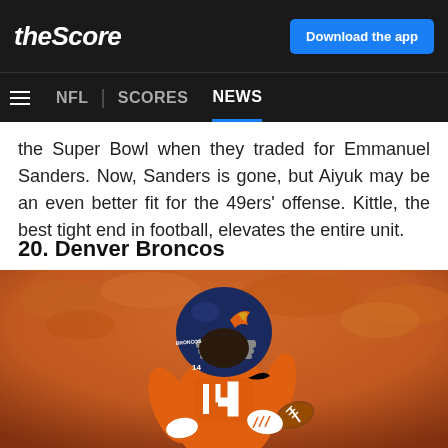theScore | NFL SCORES NEWS | Download the app
the Super Bowl when they traded for Emmanuel Sanders. Now, Sanders is gone, but Aiyuk may be an even better fit for the 49ers' offense. Kittle, the best tight end in football, elevates the entire unit.
20. Denver Broncos
[Figure (photo): Denver Broncos player wearing orange #14 jersey running with football]